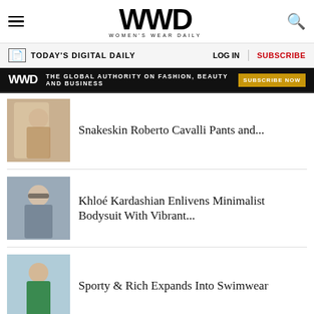WWD — Women's Wear Daily
TODAY'S DIGITAL DAILY | LOG IN | SUBSCRIBE
[Figure (infographic): WWD ad banner: THE GLOBAL AUTHORITY ON FASHION, BEAUTY AND BUSINESS — SUBSCRIBE NOW]
[Figure (photo): Fashion photo thumbnail for Snakeskin Roberto Cavalli Pants article]
Snakeskin Roberto Cavalli Pants and...
[Figure (photo): Photo of Khloé Kardashian wearing sunglasses and minimalist bodysuit]
Khloé Kardashian Enlivens Minimalist Bodysuit With Vibrant...
[Figure (photo): Photo of model in green swimsuit for Sporty & Rich article]
Sporty & Rich Expands Into Swimwear
[Figure (photo): Partial thumbnail for next article]